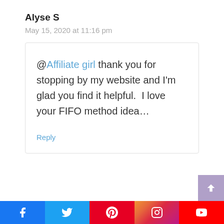Alyse S
May 15, 2020 at 11:16 pm
@Affiliate girl thank you for stopping by my website and I'm glad you find it helpful.  I love your FIFO method idea...
Reply